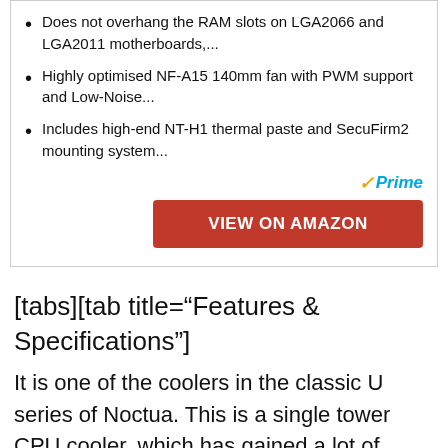Does not overhang the RAM slots on LGA2066 and LGA2011 motherboards,...
Highly optimised NF-A15 140mm fan with PWM support and Low-Noise...
Includes high-end NT-H1 thermal paste and SecuFirm2 mounting system...
[tabs][tab title="Features & Specifications"]
It is one of the coolers in the classic U series of Noctua. This is a single tower CPU cooler, which has gained a lot of recognition in the market. It has six, large heat pipes, along with a 140mm fan and